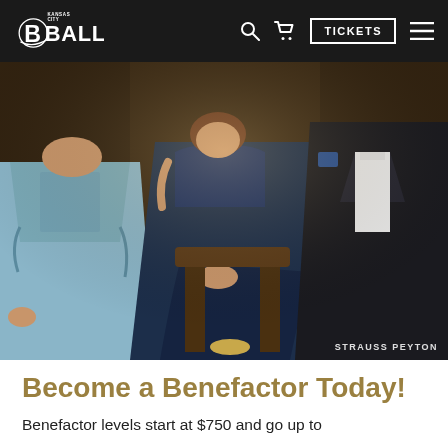Kansas City Ballet — navigation bar with logo, search, cart, TICKETS button, and menu icon
[Figure (photo): Three elegantly dressed people posing in a formal setting: a woman on the left in a light blue satin gown with bolero jacket, a woman in the center seated wearing a navy blue strapless gown, and a man on the right in a dark suit. Photo credit: STRAUSS PEYTON]
Become a Benefactor Today!
Benefactor levels start at $750 and go up to